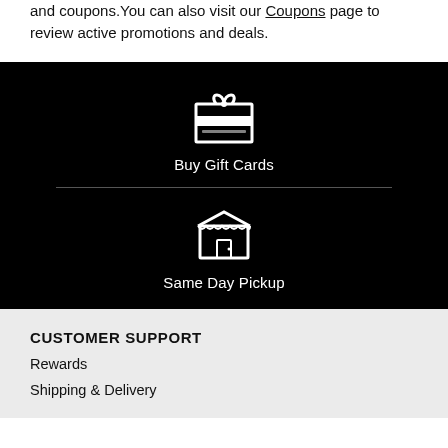and coupons.You can also visit our Coupons page to review active promotions and deals.
[Figure (illustration): Gift card icon (white outline on black background) with bow on top]
Buy Gift Cards
[Figure (illustration): Store front / shop icon with striped awning (white outline on black background)]
Same Day Pickup
CUSTOMER SUPPORT
Rewards
Shipping & Delivery